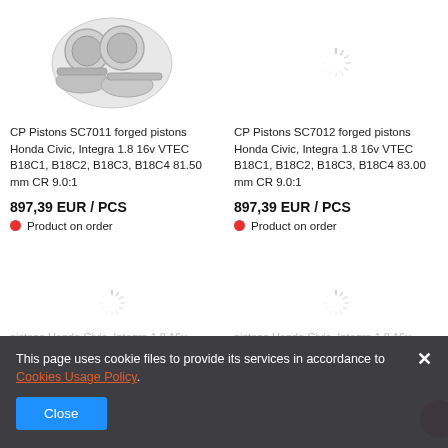[Figure (photo): Product image of CP Pistons SC7011 forged pistons set - shows pistons, rings and components]
[Figure (other): Loading spinner icon (top right)]
CP Pistons SC7011 forged pistons Honda Civic, Integra 1.8 16v VTEC B18C1, B18C2, B18C3, B18C4 81.50 mm CR 9.0:1
CP Pistons SC7012 forged pistons Honda Civic, Integra 1.8 16v VTEC B18C1, B18C2, B18C3, B18C4 83.00 mm CR 9.0:1
897,39 EUR / PCS
897,39 EUR / PCS
Product on order
Product on order
[Figure (other): Loading spinner icon (bottom left)]
[Figure (other): Loading spinner icon (bottom right)]
pistons Honda Civic, Integra 1.8 16v VTEC B18C1, B18C2, B18C3,
pistons Honda Civic, Integra 1.8 16v VTEC B18C1, B18C2, B18C3,
This page uses cookie files to provide its services in accordance to Cookies Usage Policy.
Close